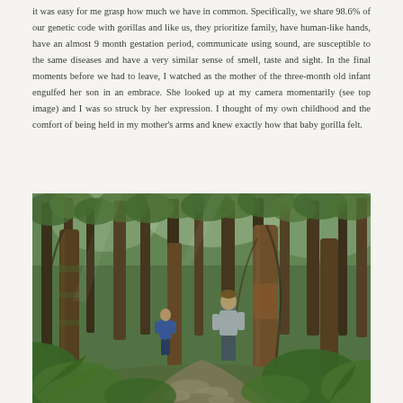it was easy for me grasp how much we have in common. Specifically, we share 98.6% of our genetic code with gorillas and like us, they prioritize family, have human-like hands, have an almost 9 month gestation period, communicate using sound, are susceptible to the same diseases and have a very similar sense of smell, taste and sight. In the final moments before we had to leave, I watched as the mother of the three-month old infant engulfed her son in an embrace. She looked up at my camera momentarily (see top image) and I was so struck by her expression. I thought of my own childhood and the comfort of being held in my mother's arms and knew exactly how that baby gorilla felt.
[Figure (photo): Two hikers walking along a rocky path through a lush, dense forest with tall trees draped in moss and green ferns. One hiker in blue jacket is ahead, and another with a large backpack is closer to the camera.]